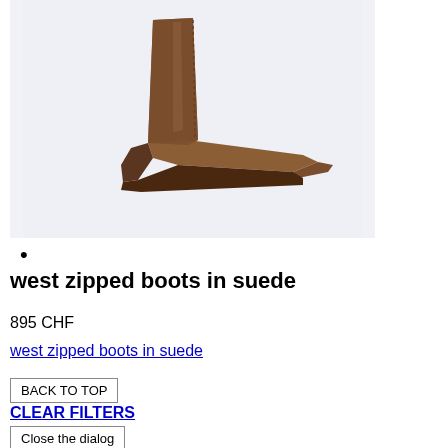[Figure (photo): Brown suede ankle boot with pointed toe and stacked block heel, photographed from the side on a light grey/blue background]
•
west zipped boots in suede
895 CHF
west zipped boots in suede
BACK TO TOP
CLEAR FILTERS
Close the dialog